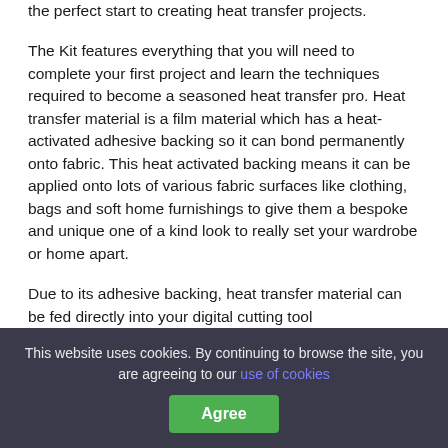the perfect start to creating heat transfer projects.

The Kit features everything that you will need to complete your first project and learn the techniques required to become a seasoned heat transfer pro. Heat transfer material is a film material which has a heat-activated adhesive backing so it can bond permanently onto fabric. This heat activated backing means it can be applied onto lots of various fabric surfaces like clothing, bags and soft home furnishings to give them a bespoke and unique one of a kind look to really set your wardrobe or home apart.

Due to its adhesive backing, heat transfer material can be fed directly into your digital cutting tool
This website uses cookies. By continuing to browse the site, you are agreeing to our use of cookies